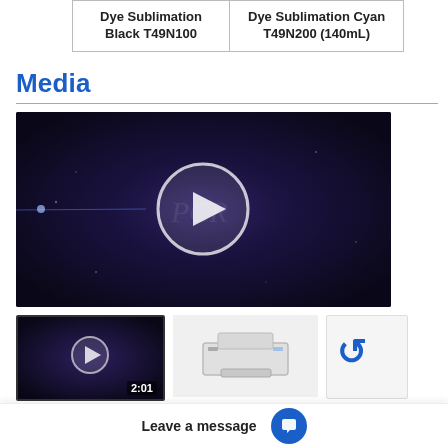| Dye Sublimation
Black T49N100 | Dye Sublimation Cyan
T49N200 (140mL) |
Media
[Figure (screenshot): A video player showing a dark purple/blue cosmic background with a play button circle in the center. Below the main video are two thumbnails: a video thumbnail with duration '2:01' and a play button, a printer product image, and a partial reCAPTCHA badge.]
Leave a message